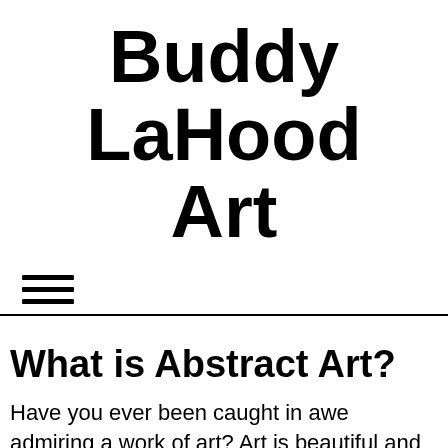Buddy LaHood Art
[Figure (other): Hamburger menu icon (three horizontal lines)]
What is Abstract Art?
Have you ever been caught in awe admiring a work of art? Art is beautiful and can fascinate viewers with its vibrant colors, detailed strokes, and a variety of exotic